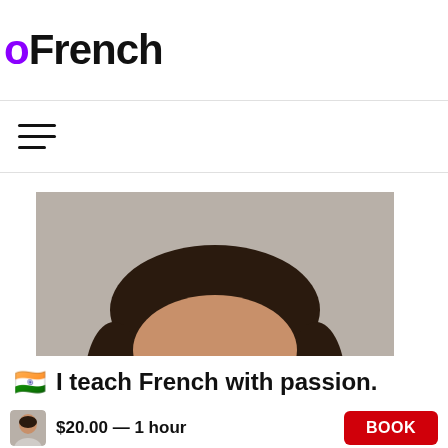oFrench
[Figure (other): Hamburger/menu icon with three horizontal lines]
[Figure (photo): Portrait photo of a middle-aged man with dark hair and a mustache, wearing a light-colored top, smiling at the camera.]
🇮🇳  I teach French with passion.
$20.00 — 1 hour
BOOK